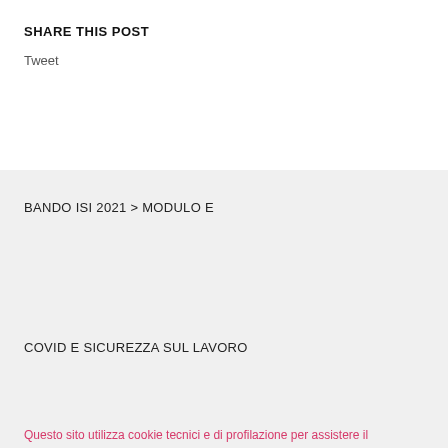SHARE THIS POST
Tweet
BANDO ISI 2021 > MODULO E
COVID E SICUREZZA SUL LAVORO
Questo sito utilizza cookie tecnici e di profilazione per assistere il